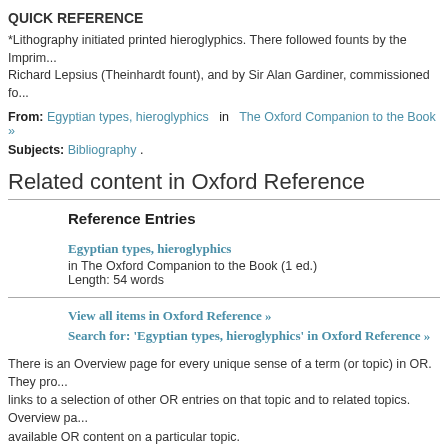QUICK REFERENCE
*Lithography initiated printed hieroglyphics. There followed founts by the Imprim... Richard Lepsius (Theinhardt fount), and by Sir Alan Gardiner, commissioned fo...
From: Egyptian types, hieroglyphics in The Oxford Companion to the Book »
Subjects: Bibliography .
Related content in Oxford Reference
Reference Entries
Egyptian types, hieroglyphics
in The Oxford Companion to the Book (1 ed.)
Length: 54 words
View all items in Oxford Reference »
Search for: 'Egyptian types, hieroglyphics' in Oxford Reference »
There is an Overview page for every unique sense of a term (or topic) in OR. They pro... links to a selection of other OR entries on that topic and to related topics. Overview pa... available OR content on a particular topic.
The page consists of a small introductory snippet of text defining the Overview term. I...
Loading [MathJax]/jax/output/SVG/config.js
er which the entry is categorized.